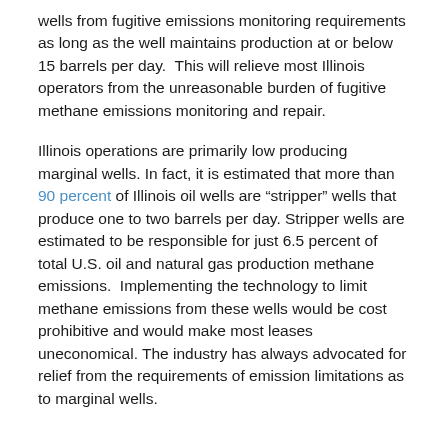wells from fugitive emissions monitoring requirements as long as the well maintains production at or below 15 barrels per day.  This will relieve most Illinois operators from the unreasonable burden of fugitive methane emissions monitoring and repair.
Illinois operations are primarily low producing marginal wells. In fact, it is estimated that more than 90 percent of Illinois oil wells are “stripper” wells that produce one to two barrels per day. Stripper wells are estimated to be responsible for just 6.5 percent of total U.S. oil and natural gas production methane emissions.  Implementing the technology to limit methane emissions from these wells would be cost prohibitive and would make most leases uneconomical. The industry has always advocated for relief from the requirements of emission limitations as to marginal wells.